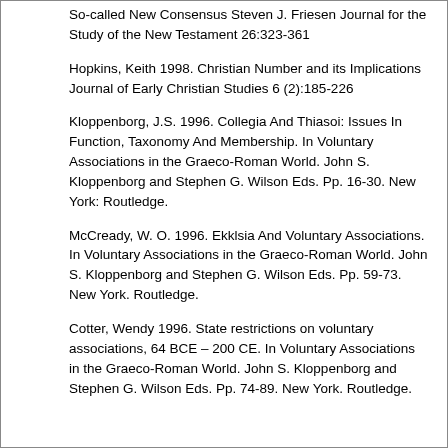So-called New Consensus Steven J. Friesen Journal for the Study of the New Testament 26:323-361
Hopkins, Keith 1998. Christian Number and its Implications Journal of Early Christian Studies 6 (2):185-226
Kloppenborg, J.S. 1996. Collegia And Thiasoi: Issues In Function, Taxonomy And Membership. In Voluntary Associations in the Graeco-Roman World. John S. Kloppenborg and Stephen G. Wilson Eds. Pp. 16-30. New York: Routledge.
McCready, W. O. 1996. Ekklsia And Voluntary Associations. In Voluntary Associations in the Graeco-Roman World. John S. Kloppenborg and Stephen G. Wilson Eds. Pp. 59-73. New York. Routledge.
Cotter, Wendy 1996. State restrictions on voluntary associations, 64 BCE – 200 CE. In Voluntary Associations in the Graeco-Roman World. John S. Kloppenborg and Stephen G. Wilson Eds. Pp. 74-89. New York. Routledge.